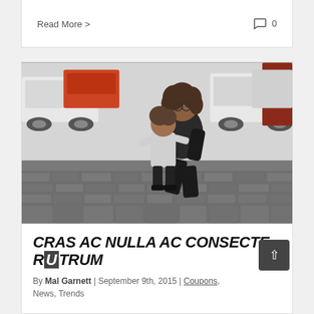Read More >
0
[Figure (photo): A woman with curly hair and glasses crouching on cobblestone street, hugging a small child in a gray hoodie. Street scene with cars in background.]
CRAS AC NULLA AC CONSECTE RUTRUM
By Mal Garnett | September 9th, 2015 | Coupons, News, Trends